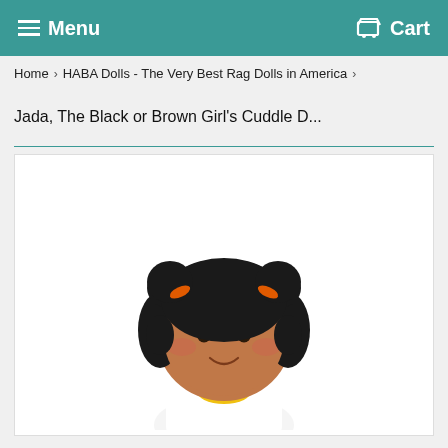Menu   Cart
Home > HABA Dolls - The Very Best Rag Dolls in America >
Jada, The Black or Brown Girl's Cuddle D...
[Figure (photo): Photo of Jada cuddle doll — a soft plush girl doll with dark brown skin, black hair in two buns with orange ribbons, rosy cheeks, small smile, wearing a white and yellow outfit, shown from the chest up against a white background.]